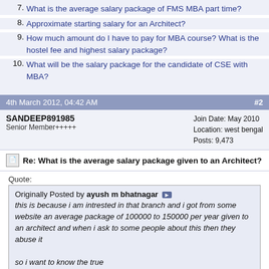7. What is the average salary package of FMS MBA part time?
8. Approximate starting salary for an Architect?
9. How much amount do I have to pay for MBA course? What is the hostel fee and highest salary package?
10. What will be the salary package for the candidate of CSE with MBA?
4th March 2012, 04:42 AM   #2
SANDEEP891985
Senior Member+++++
Join Date: May 2010
Location: west bengal
Posts: 9,473
Re: What is the average salary package given to an Architect?
Quote:
Originally Posted by ayush m bhatnagar
this is because i am intrested in that branch and i got from some website an average package of 100000 to 150000 per year given to an architect and when i ask to some people about this then they abuse it

so i want to know the true
Scope of architecture has changed dramatically in the last couple of decades in the country. Career in Architecture is lucrative and for the hard working and skilled students its an excellent field to prosper. Architects can opt for working in construction companies where they